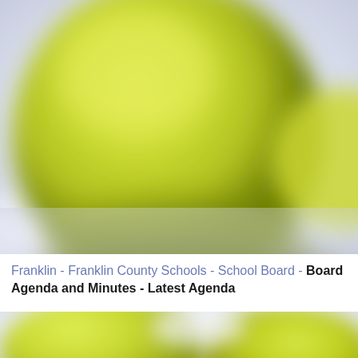[Figure (photo): Close-up blurred photograph of yellow-green tennis balls on a light lavender/white background, top portion of page]
Franklin - Franklin County Schools - School Board - Board Agenda and Minutes - Latest Agenda
[Figure (photo): Close-up blurred photograph of yellow-green tennis balls, bottom portion of page]